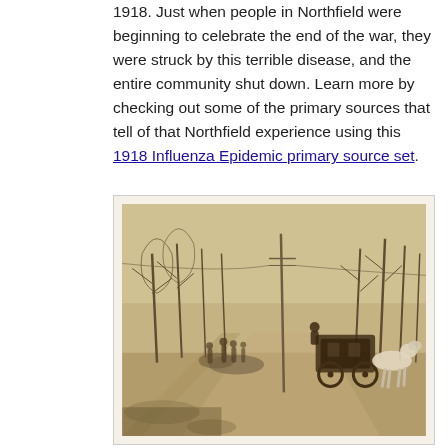1918. Just when people in Northfield were beginning to celebrate the end of the war, they were struck by this terrible disease, and the entire community shut down. Learn more by checking out some of the primary sources that tell of that Northfield experience using this 1918 Influenza Epidemic primary source set.
[Figure (photo): Sepia-toned historical photograph showing a street scene with bare trees lining a road, a group of people walking, and a horse-drawn carriage or hearse with a white horse on the right side of the image.]